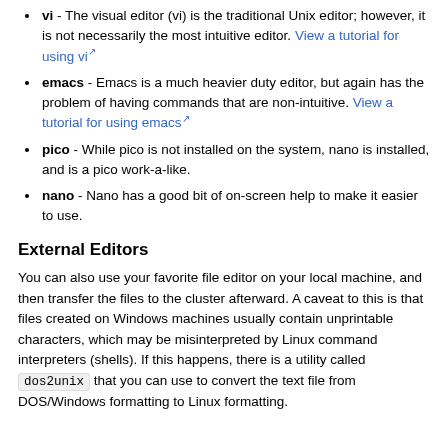vi - The visual editor (vi) is the traditional Unix editor; however, it is not necessarily the most intuitive editor. View a tutorial for using vi
emacs - Emacs is a much heavier duty editor, but again has the problem of having commands that are non-intuitive. View a tutorial for using emacs
pico - While pico is not installed on the system, nano is installed, and is a pico work-a-like.
nano - Nano has a good bit of on-screen help to make it easier to use.
External Editors
You can also use your favorite file editor on your local machine, and then transfer the files to the cluster afterward. A caveat to this is that files created on Windows machines usually contain unprintable characters, which may be misinterpreted by Linux command interpreters (shells). If this happens, there is a utility called dos2unix that you can use to convert the text file from DOS/Windows formatting to Linux formatting.